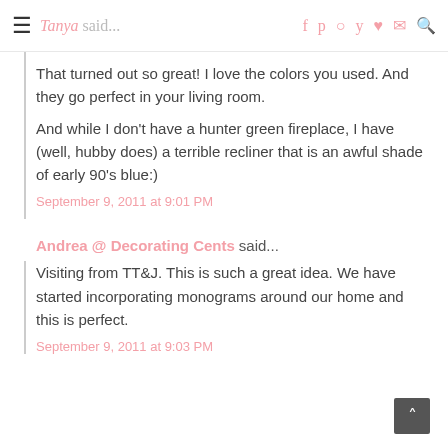Tanya said... [navigation icons]
That turned out so great! I love the colors you used. And they go perfect in your living room.
And while I don't have a hunter green fireplace, I have (well, hubby does) a terrible recliner that is an awful shade of early 90's blue:)
September 9, 2011 at 9:01 PM
Andrea @ Decorating Cents said...
Visiting from TT&J. This is such a great idea. We have started incorporating monograms around our home and this is perfect.
September 9, 2011 at 9:03 PM